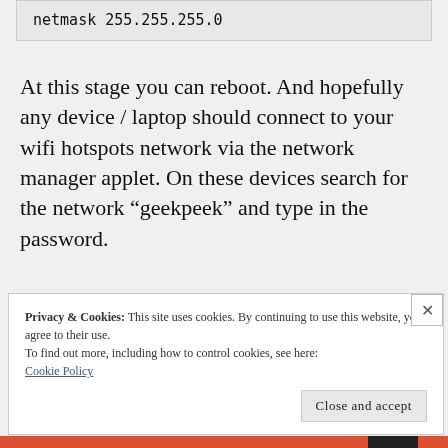netmask 255.255.255.0
At this stage you can reboot. And hopefully any device / laptop should connect to your wifi hotspots network via the network manager applet. On these devices search for the network “geekpeek” and type in the password.
Privacy & Cookies: This site uses cookies. By continuing to use this website, you agree to their use.
To find out more, including how to control cookies, see here:
Cookie Policy
Close and accept